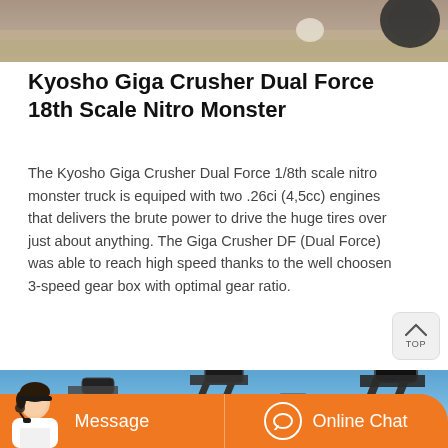[Figure (photo): Partial top of a photo showing a mud or outdoor surface with equipment]
Kyosho Giga Crusher Dual Force 18th Scale Nitro Monster
The Kyosho Giga Crusher Dual Force 1/8th scale nitro monster truck is equiped with two .26ci (4,5cc) engines that delivers the brute power to drive the huge tires over just about anything. The Giga Crusher DF (Dual Force) was able to reach high speed thanks to the well choosen 3-speed gear box with optimal gear ratio.
[Figure (photo): Industrial conveyor belt machinery outdoors against a blue sky]